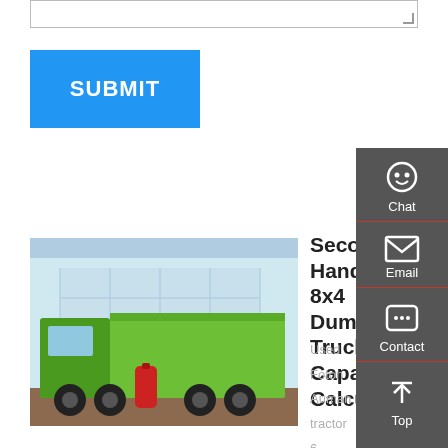[Figure (other): Text input/textarea box at the top of the page with resize handle in bottom right corner]
SUBMIT
[Figure (photo): Green Sinotruk HOWO 8x4 dump truck parked in front of a building]
Second-Hand 8x4 Dump Truck Capacity Calculator
Used Foton Auman tractor 6...
10 Wheels 336HP 380HP ...
Tractor Truck Trailer Head ...
Tractor Head Second Hand ...
Heavy Duty Truc. Heavy Duty.
1.0 Sets (Min. Order) Used